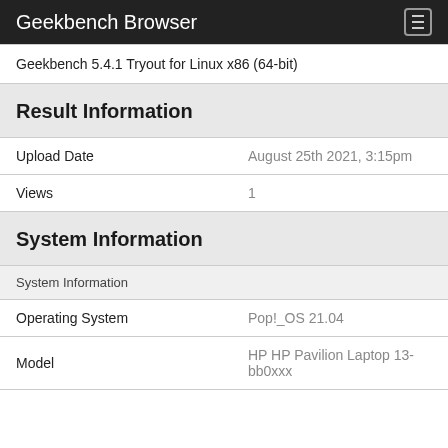Geekbench Browser
Geekbench 5.4.1 Tryout for Linux x86 (64-bit)
Result Information
| Field | Value |
| --- | --- |
| Upload Date | August 25th 2021, 3:15pm |
| Views | 1 |
System Information
System Information
| Field | Value |
| --- | --- |
| Operating System | Pop!_OS 21.04 |
| Model | HP HP Pavilion Laptop 13-bb0xxx |